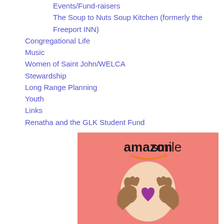Events/Fund-raisers
The Soup to Nuts Soup Kitchen (formerly the Freeport INN)
Congregational Life
Music
Women of Saint John/WELCA
Stewardship
Long Range Planning
Youth
Links
Renatha and the GLK Student Fund
[Figure (logo): Amazon Smile logo with illustration of two hands making a heart shape with a purple heart in the center, on a coral/salmon pink background]